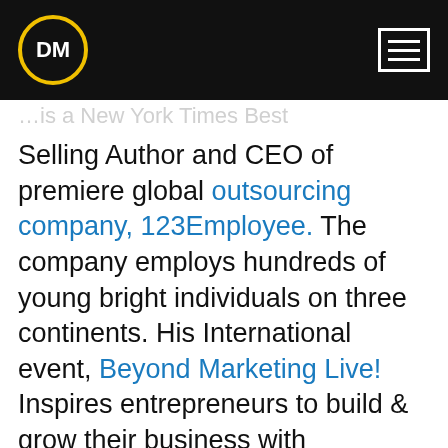[Figure (logo): DM logo — white bold DM text inside a circle with yellow/gold border on black background]
[Figure (other): Hamburger menu icon — three horizontal white lines in a white-bordered rectangle on black background]
Selling Author and CEO of premiere global outsourcing company, 123Employee. The company employs hundreds of young bright individuals on three continents. His International event, Beyond Marketing Live! Inspires entrepreneurs to build & grow their business with revolutionary new theories and systems allowing them to design the business and personal lifestyle of their dreams.